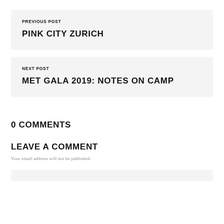PREVIOUS POST
PINK CITY ZURICH
NEXT POST
MET GALA 2019: NOTES ON CAMP
0 COMMENTS
LEAVE A COMMENT
Your email address will not be published.